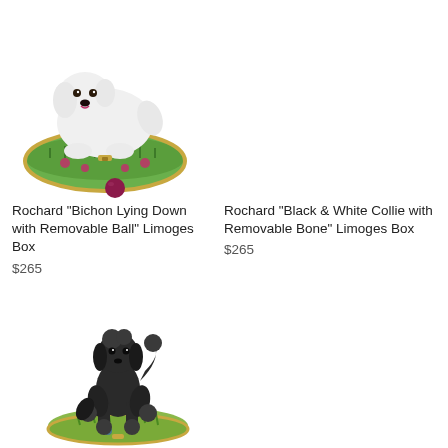[Figure (photo): Rochard Bichon Lying Down Limoges Box figurine - white fluffy dog on green grass oval base with pink flowers and gold trim, with a small removable dark red/maroon ball]
[Figure (photo): Rochard Black and White Collie with Removable Bone Limoges Box - no image visible in right column top area]
Rochard "Bichon Lying Down with Removable Ball" Limoges Box
$265
Rochard "Black & White Collie with Removable Bone" Limoges Box
$265
[Figure (photo): Dark brown/black poodle figurine standing on a small green oval Limoges box base with gold trim and floral details]